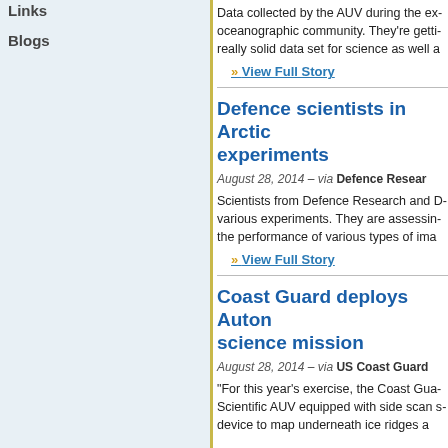Links
Blogs
Data collected by the AUV during the ex... oceanographic community. They're getti... really solid data set for science as well a...
» View Full Story
Defence scientists in Arctic experiments
August 28, 2014 – via Defence Resear...
Scientists from Defence Research and D... various experiments. They are assessin... the performance of various types of ima...
» View Full Story
Coast Guard deploys Auton... science mission
August 28, 2014 – via US Coast Guard
"For this year's exercise, the Coast Gua... Scientific AUV equipped with side scan s... device to map underneath ice ridges a...